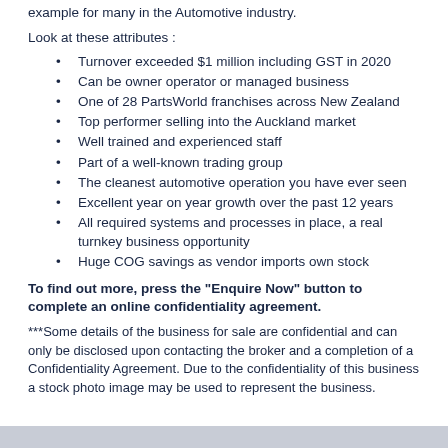example for many in the Automotive industry.
Look at these attributes :
Turnover exceeded $1 million including GST in 2020
Can be owner operator or managed business
One of 28 PartsWorld franchises across New Zealand
Top performer selling into the Auckland market
Well trained and experienced staff
Part of a well-known trading group
The cleanest automotive operation you have ever seen
Excellent year on year growth over the past 12 years
All required systems and processes in place, a real turnkey business opportunity
Huge COG savings as vendor imports own stock
To find out more, press the "Enquire Now" button to complete an online confidentiality agreement.
***Some details of the business for sale are confidential and can only be disclosed upon contacting the broker and a completion of a Confidentiality Agreement. Due to the confidentiality of this business a stock photo image may be used to represent the business.